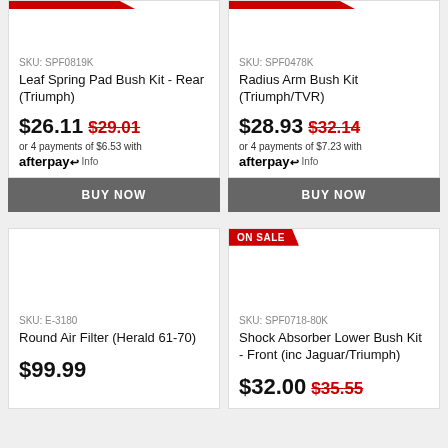SKU: SPF0819K
Leaf Spring Pad Bush Kit - Rear (Triumph)
$26.11  $29.01  or 4 payments of $6.53 with afterpay Info
BUY NOW
SKU: SPF0478K
Radius Arm Bush Kit (Triumph/TVR)
$28.93  $32.14  or 4 payments of $7.23 with afterpay Info
BUY NOW
SKU: E-3180
Round Air Filter (Herald 61-70)
$99.99
ON SALE
SKU: SPF0718-80K
Shock Absorber Lower Bush Kit - Front (inc Jaguar/Triumph)
$32.00  $35.55